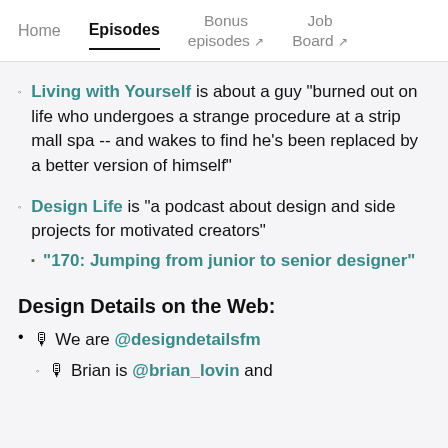Home | Episodes | Bonus episodes ↗ | Job Board ↗
Living with Yourself is about a guy "burned out on life who undergoes a strange procedure at a strip mall spa -- and wakes to find he's been replaced by a better version of himself"
Design Life is "a podcast about design and side projects for motivated creators"
"170: Jumping from junior to senior designer"
Design Details on the Web:
🎙 We are @designdetailsfm
🎙 Brian is @brian_lovin and